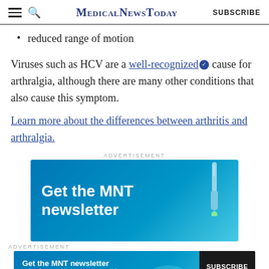MedicalNewsToday | SUBSCRIBE
reduced range of motion
Viruses such as HCV are a well-recognized cause for arthralgia, although there are many other conditions that also cause this symptom.
Learn more about the differences between arthritis and arthralgia.
ADVERTISEMENT
[Figure (other): Advertisement banner for MNT newsletter with dropper graphic on blue background, text: Get the MNT newsletter]
ADVERTISEMENT
[Figure (other): Small advertisement banner: Get the MNT newsletter, Subscribe to receive our top news articles, with SUBSCRIBE button]